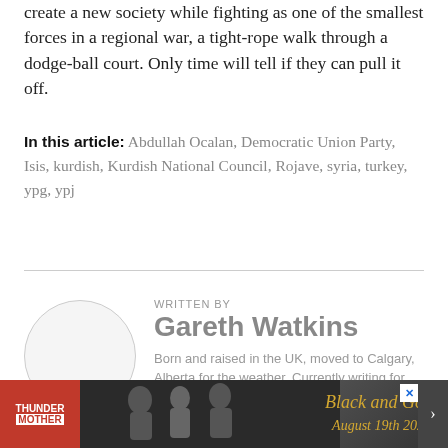create a new society while fighting as one of the smallest forces in a regional war, a tight-rope walk through a dodge-ball court. Only time will tell if they can pull it off.
In this article: Abdullah Ocalan, Democratic Union Party, Isis, kurdish, Kurdish National Council, Rojave, syria, turkey, ypg, ypj
WRITTEN BY
Gareth Watkins
Born and raised in the UK, moved to Calgary, Alberta for the weather. Currently writing for this publication and others while working on a book
[Figure (photo): Advertisement banner for Thunder Mother - Black and Gold, August 19th 2022]